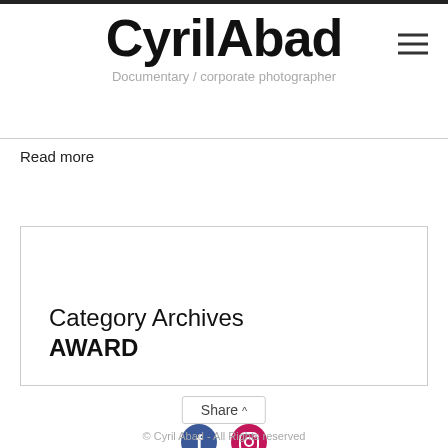CyrilAbad
Documentary / corporate photographer
Read more
Category Archives
AWARD
Share ^
© Cyril Abad - All Rights reserved